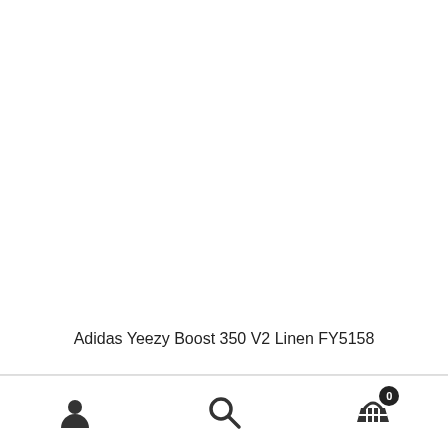Adidas Yeezy Boost 350 V2 Linen FY5158
$00.00
[Figure (screenshot): White empty product image area]
Navigation bar with user icon, search icon, and cart icon showing 0 items